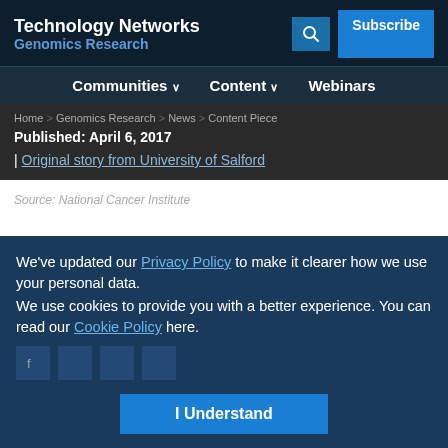Technology Networks Genomics Research
Communities | Content | Webinars
Home > Genomics Research > News > Content Piece
Published: April 6, 2017
| Original story from University of Salford
Source: National Cancer Institute
We've updated our Privacy Policy to make it clearer how we use your personal data.
We use cookies to provide you with a better experience. You can read our Cookie Policy here.
I Understand
Advertisement
Do you use qPCR and dCPR to develop biologics? | Explore now | applied biosystems